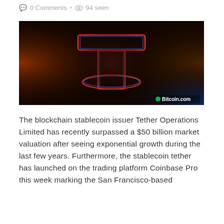0 Comments • 94 seen
[Figure (photo): Tether logo rendered in neon red and blue light on a dark background, with Bitcoin.com watermark in bottom right corner.]
The blockchain stablecoin issuer Tether Operations Limited has recently surpassed a $50 billion market valuation after seeing exponential growth during the last few years. Furthermore, the stablecoin tether has launched on the trading platform Coinbase Pro this week marking the San Francisco-based